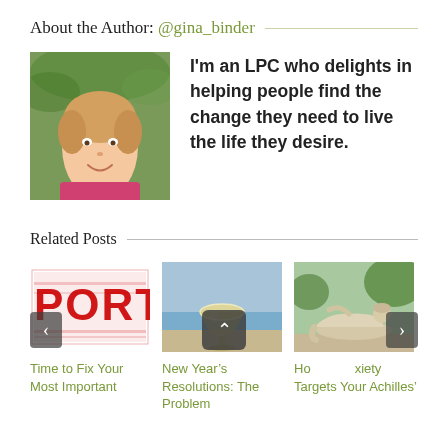About the Author: @gina_binder
[Figure (photo): Headshot photo of Gina Binder, a woman with light hair, wearing a pink top, smiling, with a green outdoor background.]
I'm an LPC who delights in helping people find the change they need to live the life they desire.
Related Posts
[Figure (photo): Red text on white background showing 'PORTI' in bold distressed font (partial text visible).]
[Figure (photo): A crystal champagne coupe glass with a golden drink on a surface, with a blurred water background.]
[Figure (photo): A white stone statue of a reclining figure (Achilles) in a garden setting with green foliage.]
Time to Fix Your Most Important
New Year's Resolutions: The Problem
How Anxiety Targets Your Achilles'